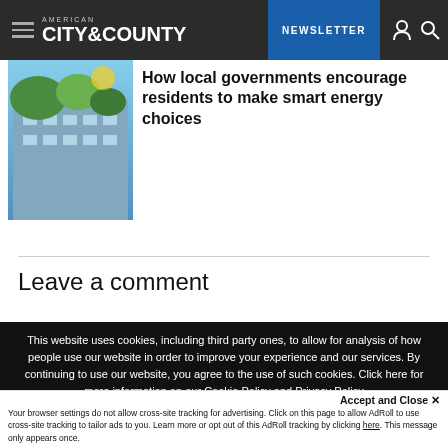AMERICAN CITY & COUNTY — NEWSLETTER
[Figure (photo): Building with green trees and blue sky, architectural exterior photo]
How local governments encourage residents to make smart energy choices
Leave a comment
This website uses cookies, including third party ones, to allow for analysis of how people use our website in order to improve your experience and our services. By continuing to use our website, you agree to the use of such cookies. Click here for more information on our Cookie Policy and Privacy Policy
Accept and Close ✕
Your browser settings do not allow cross-site tracking for advertising. Click on this page to allow AdRoll to use cross-site tracking to tailor ads to you. Learn more or opt out of this AdRoll tracking by clicking here. This message only appears once.